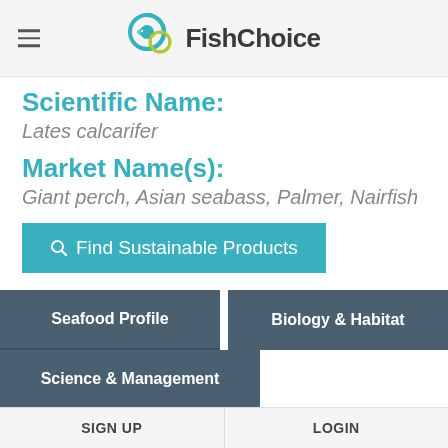FishChoice
Scientific Name:
Lates calcarifer
Market Name(s):
Giant perch, Asian seabass, Palmer, Nairfish
Find Sustainable Products
Seafood Profile
Biology & Habitat
Science & Management
SIGN UP   LOGIN